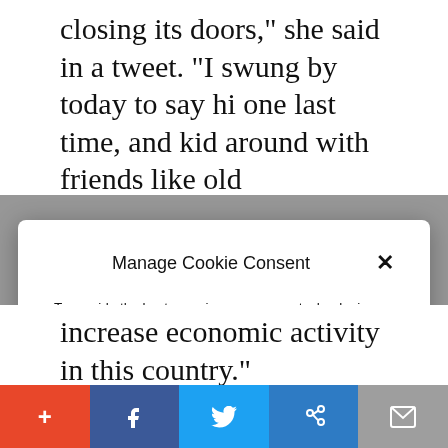closing its doors,” she said in a tweet. “I swung by today to say hi one last time, and kid around with friends like old
Manage Cookie Consent
To provide the best experiences, we use technologies like cookies to store and/or access device information. Consenting to these technologies will allow us to process data such as website statistics. Not consenting or withdrawing consent, may adversely affect certain features and functions.
Accept
Cookie Policy  Privacy Policy
increase economic activity in this country.”
+ f Twitter link-icon mail-icon